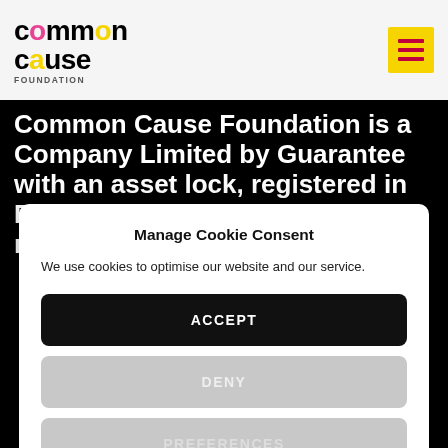[Figure (logo): Common Cause Foundation logo with colorful letters and yellow hamburger menu button]
Common Cause Foundation is a Company Limited by Guarantee with an asset lock, registered in England and Wales. Registration number 09413020
Manage Cookie Consent
We use cookies to optimise our website and our service.
ACCEPT
DENY
PREFERENCES